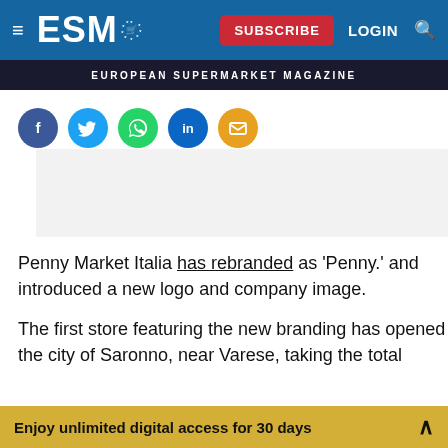ESM — EUROPEAN SUPERMARKET MAGAZINE — SUBSCRIBE LOGIN
[Figure (other): Social sharing icons row: Facebook, Twitter, WhatsApp, LinkedIn, Email]
[Figure (other): Advertisement placeholder (grey box)]
Penny Market Italia has rebranded as 'Penny.' and introduced a new logo and company image.
The first store featuring the new branding has opened in the city of Saronno, near Varese, taking the total
Enjoy unlimited digital access for 30 days